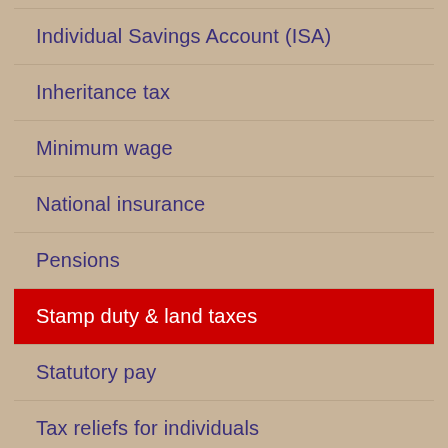Individual Savings Account (ISA)
Inheritance tax
Minimum wage
National insurance
Pensions
Stamp duty & land taxes
Statutory pay
Tax reliefs for individuals
Value added tax
Vehicles